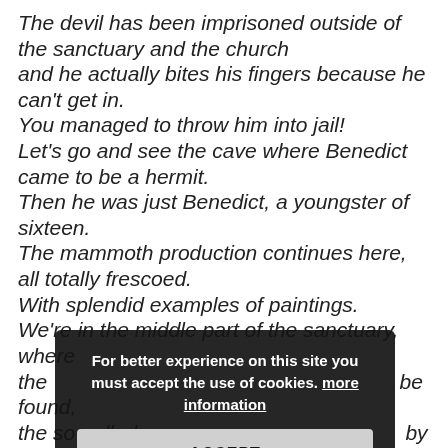The devil has been imprisoned outside of the sanctuary and the church and he actually bites his fingers because he can't get in. You managed to throw him into jail! Let's go and see the cave where Benedict came to be a hermit. Then he was just Benedict, a youngster of sixteen. The mammoth production continues here, all totally frescoed. With splendid examples of paintings. We're in the middle part of the sanctuary, where the [overlay] be found, the so-called [overlay] by scenes from the saint's [overlay] For example, this [overlay] – the priest Florenzo is jealous of Benedict's presence and sanctity.
For better experience on this site you must accept the use of cookies. more information
ACCEPT